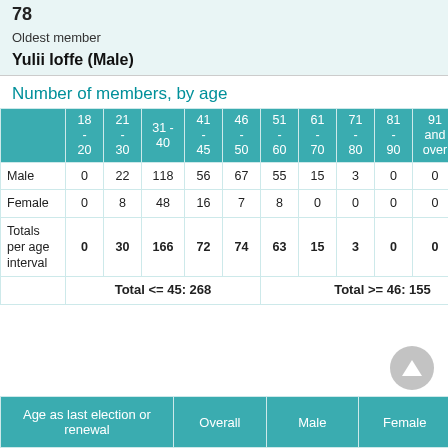78
Oldest member
Yulii Ioffe (Male)
Number of members, by age
|  | 18-20 | 21-30 | 31-40 | 41-45 | 46-50 | 51-60 | 61-70 | 71-80 | 81-90 | 91 and over | Total per gender |
| --- | --- | --- | --- | --- | --- | --- | --- | --- | --- | --- | --- |
| Male | 0 | 22 | 118 | 56 | 67 | 55 | 15 | 3 | 0 | 0 | 336 |
| Female | 0 | 8 | 48 | 16 | 7 | 8 | 0 | 0 | 0 | 0 | 87 |
| Totals per age interval | 0 | 30 | 166 | 72 | 74 | 63 | 15 | 3 | 0 | 0 |  |
|  | Total <= 45: 268 |  |  |  | Total >= 46: 155 |  |  |  |  |  |
| Age as last election or renewal | Overall | Male | Female |
| --- | --- | --- | --- |